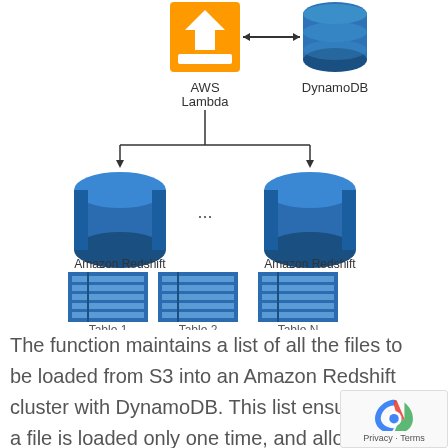[Figure (flowchart): Architecture diagram showing AWS Lambda connected bidirectionally to DynamoDB, and AWS Lambda connected downward via arrows to two Amazon Redshift clusters (with '...' between them), each cluster having tables below (Table 1, Table 2, Table N).]
The function maintains a list of all the files to be loaded from S3 into an Amazon Redshift cluster with DynamoDB. This list ensures that a file is loaded only one time, and allows you to determine when a file was loaded and into which